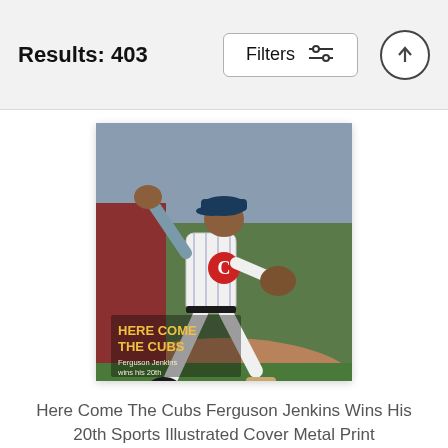Results: 403
[Figure (photo): Sports Illustrated magazine cover showing Ferguson Jenkins of the Chicago Cubs in a pitching stance, wearing a white pinstripe Cubs uniform. Text overlay reads 'HERE COME THE CUBS' and 'Ferguson Jenkins wins his 20th']
Here Come The Cubs Ferguson Jenkins Wins His 20th Sports Illustrated Cover Metal Print